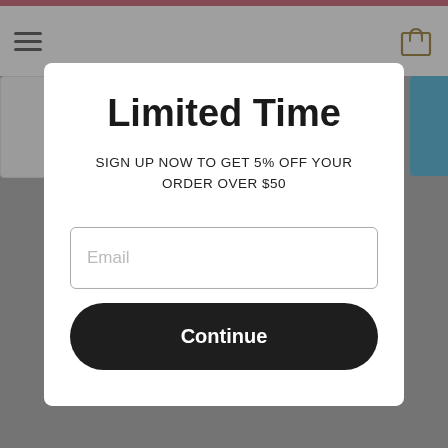[Figure (screenshot): Website screenshot background with nav bar, hamburger menu, cart icon, product thumbnail, and search button, overlaid by a modal popup]
Limited Time
SIGN UP NOW TO GET 5% OFF YOUR ORDER OVER $50
Email
Continue